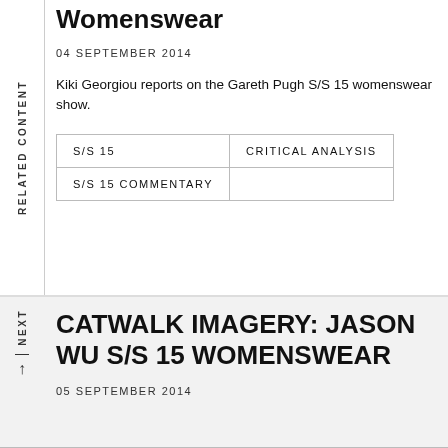Womenswear
04 SEPTEMBER 2014
Kiki Georgiou reports on the Gareth Pugh S/S 15 womenswear show.
| S/S 15 | CRITICAL ANALYSIS |
| S/S 15 COMMENTARY |  |
CATWALK IMAGERY: JASON WU S/S 15 WOMENSWEAR
05 SEPTEMBER 2014